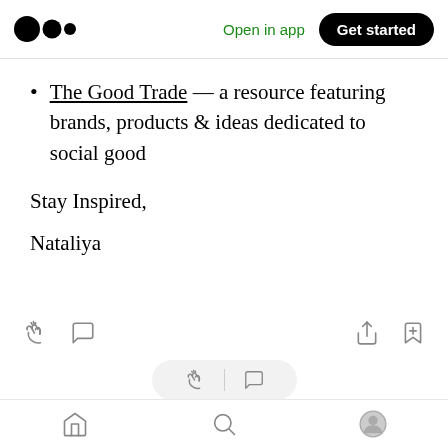Medium app header with logo, Open in app link, and Get started button
The Good Trade — a resource featuring brands, products & ideas dedicated to social good
Stay Inspired,
Nataliya